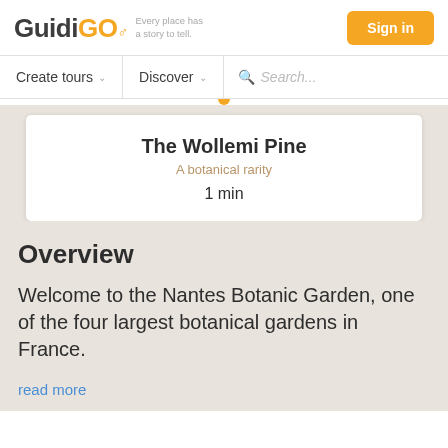GuidiGO — Every place has a story to tell | Sign in
Create tours | Discover | Search...
The Wollemi Pine
A botanical rarity
1 min
Overview
Welcome to the Nantes Botanic Garden, one of the four largest botanical gardens in France.
read more